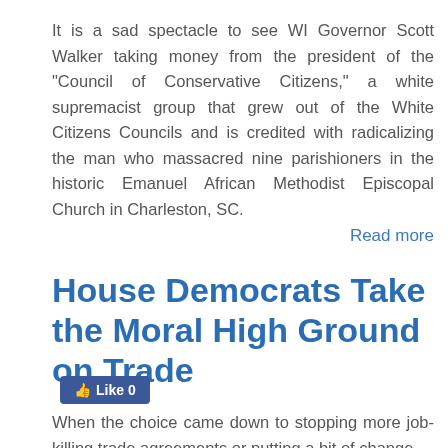It is a sad spectacle to see WI Governor Scott Walker taking money from the president of the "Council of Conservative Citizens," a white supremacist group that grew out of the White Citizens Councils and is credited with radicalizing the man who massacred nine parishioners in the historic Emanuel African Methodist Episcopal Church in Charleston, SC.
Read more
House Democrats Take the Moral High Ground on Trade
[Figure (other): Facebook Like button showing 0 likes]
When the choice came down to stopping more job-killing trade agreements or putting a bit of change